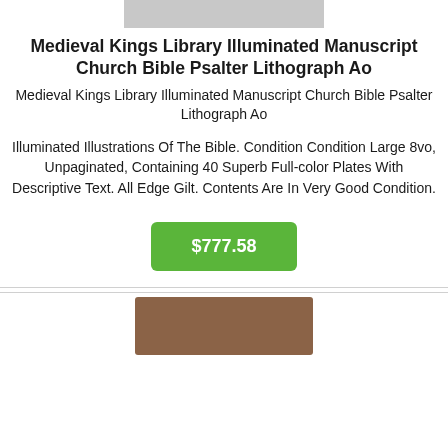[Figure (photo): Top portion of a book or manuscript image, light gray/washed out]
Medieval Kings Library Illuminated Manuscript Church Bible Psalter Lithograph Ao
Medieval Kings Library Illuminated Manuscript Church Bible Psalter Lithograph Ao
Illuminated Illustrations Of The Bible. Condition Condition Large 8vo, Unpaginated, Containing 40 Superb Full-color Plates With Descriptive Text. All Edge Gilt. Contents Are In Very Good Condition.
$777.58
[Figure (photo): Bottom portion showing a brown leather-bound old book or bible]